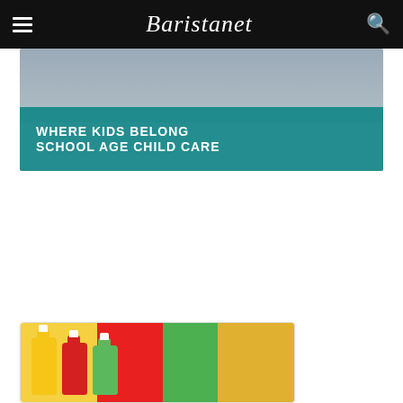Baristanet
[Figure (photo): Banner advertisement showing children in background with teal overlay text reading WHERE KIDS BELONG SCHOOL AGE CHILD CARE]
[Figure (photo): Article card image showing colorful juice/smoothie bottles in yellow, red, green, and orange]